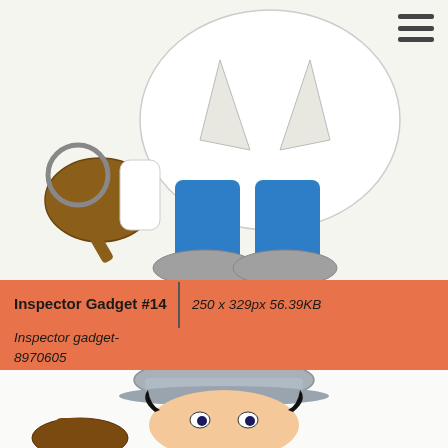[Figure (illustration): Cartoon illustration of Inspector Gadget character - lower body visible, wearing white trench coat, blue pants, grey shoes, brown gloved hand visible at left, on white background. Menu/hamburger icon in top right corner.]
Inspector Gadget #14 | 250 x 329px 56.39KB Inspector gadget- 8970605
[Figure (illustration): Cartoon illustration of Inspector Gadget character from the waist up - grey hat, dark hair, wide eyes, brown hand visible at bottom left, on white background.]